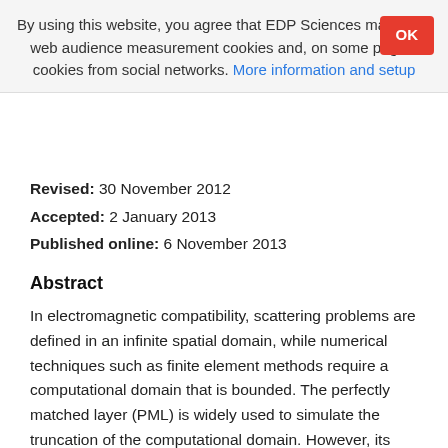By using this website, you agree that EDP Sciences may store web audience measurement cookies and, on some pages, cookies from social networks. More information and setup
Revised: 30 November 2012
Accepted: 2 January 2013
Published online: 6 November 2013
Abstract
In electromagnetic compatibility, scattering problems are defined in an infinite spatial domain, while numerical techniques such as finite element methods require a computational domain that is bounded. The perfectly matched layer (PML) is widely used to simulate the truncation of the computational domain. However, its performance depends critically on an absorption function. This function is generally tuned by using case-dependent optimization procedures. In this paper, we will present some efficient functions that overcome any tuning. They will be compared